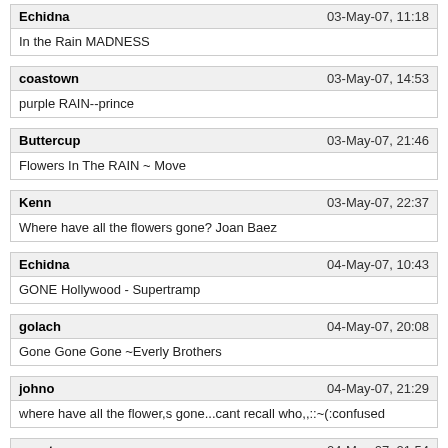Echidna | 03-May-07, 11:18 | In the Rain MADNESS
coastown | 03-May-07, 14:53 | purple RAIN--prince
Buttercup | 03-May-07, 21:46 | Flowers In The RAIN ~ Move
Kenn | 03-May-07, 22:37 | Where have all the flowers gone? Joan Baez
Echidna | 04-May-07, 10:43 | GONE Hollywood - Supertramp
golach | 04-May-07, 20:08 | Gone Gone Gone ~Everly Brothers
johno | 04-May-07, 21:29 | where have all the flower,s gone...cant recall who,,::~(:confused
coastown | 04-May-07, 21:54